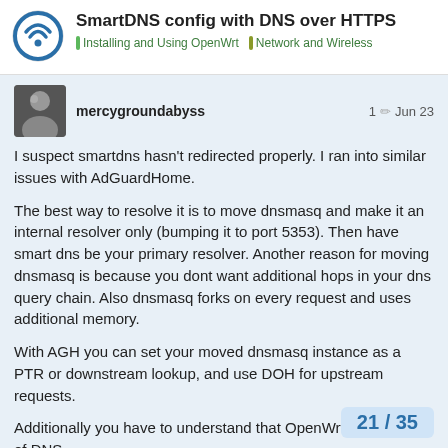SmartDNS config with DNS over HTTPS | Installing and Using OpenWrt | Network and Wireless
mercygroundabyss  1  Jun 23
I suspect smartdns hasn't redirected properly. I ran into similar issues with AdGuardHome.
The best way to resolve it is to move dnsmasq and make it an internal resolver only (bumping it to port 5353). Then have smart dns be your primary resolver. Another reason for moving dnsmasq is because you dont want additional hops in your dns query chain. Also dnsmasq forks on every request and uses additional memory.
With AGH you can set your moved dnsmasq instance as a PTR or downstream lookup, and use DOH for upstream requests.
Additionally you have to understand that OpenWrt has two sets of DNS.
Its upstream that is derived from you
21 / 35